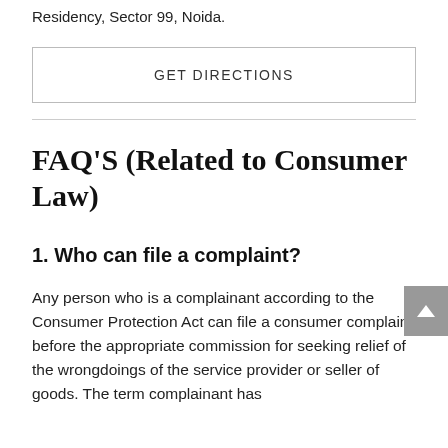Residency, Sector 99, Noida.
GET DIRECTIONS
FAQ'S (Related to Consumer Law)
1. Who can file a complaint?
Any person who is a complainant according to the Consumer Protection Act can file a consumer complaint before the appropriate commission for seeking relief of the wrongdoings of the service provider or seller of goods. The term complainant has